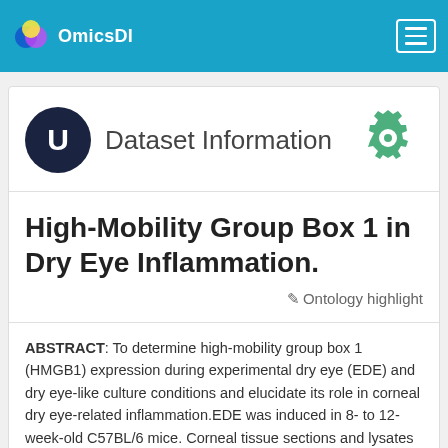OmicsDI
Dataset Information
High-Mobility Group Box 1 in Dry Eye Inflammation.
Ontology highlight
ABSTRACT: To determine high-mobility group box 1 (HMGB1) expression during experimental dry eye (EDE) and dry eye-like culture conditions and elucidate its role in corneal dry eye-related inflammation.EDE was induced in 8- to 12-week-old C57BL/6 mice. Corneal tissue sections and lysates from EDE and untreated mice were evaluated for HMGB1